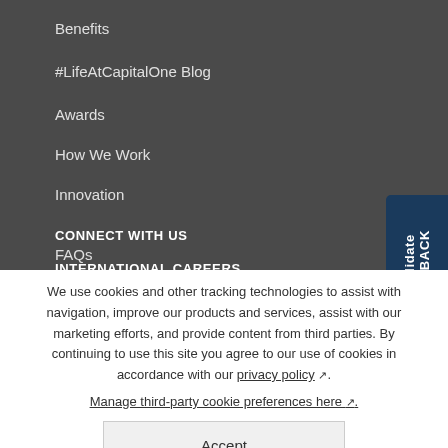Benefits
#LifeAtCapitalOne Blog
Awards
How We Work
Innovation
CONNECT WITH US
FAQs
INTERNATIONAL CAREERS
We use cookies and other tracking technologies to assist with navigation, improve our products and services, assist with our marketing efforts, and provide content from third parties. By continuing to use this site you agree to our use of cookies in accordance with our privacy policy ↗. Manage third-party cookie preferences here ↗.
Accept